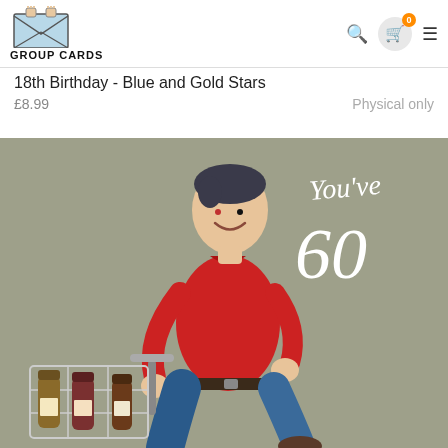[Figure (logo): Group Cards logo with envelope/mail icon and bold text GROUP CARDS]
18th Birthday - Blue and Gold Stars
£8.99    Physical only
[Figure (photo): A clay/plasticine figurine of a smiling man in a red shirt and jeans riding a bicycle with bottles in a crate basket. White handwritten text reads 'You've 60' on a grey-green background.]